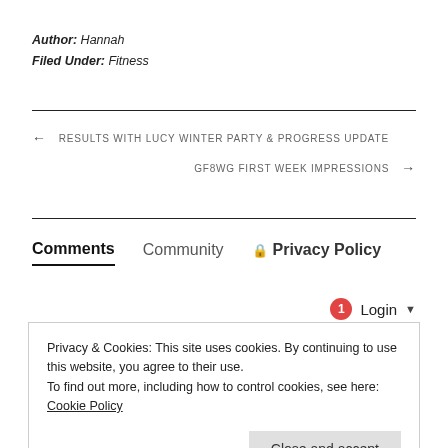Author: Hannah
Filed Under: Fitness
← RESULTS WITH LUCY WINTER PARTY & PROGRESS UPDATE
GF8WG FIRST WEEK IMPRESSIONS →
Comments  Community  🔒 Privacy Policy
1  Login ▾
Privacy & Cookies: This site uses cookies. By continuing to use this website, you agree to their use.
To find out more, including how to control cookies, see here: Cookie Policy
Close and accept